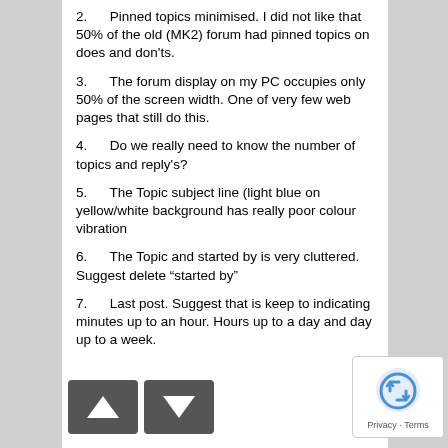2.      Pinned topics minimised. I did not like that 50% of the old (MK2) forum had pinned topics on does and don'ts.
3.      The forum display on my PC occupies only 50% of the screen width. One of very few web pages that still do this.
4.      Do we really need to know the number of topics and reply's?
5.      The Topic subject line (light blue on yellow/white background has really poor colour vibration
6.      The Topic and started by is very cluttered. Suggest delete “started by”
7.      Last post. Suggest that is keep to indicating minutes up to an hour. Hours up to a day and day up to a week.